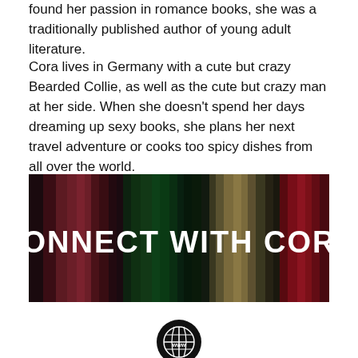found her passion in romance books, she was a traditionally published author of young adult literature.
Cora lives in Germany with a cute but crazy Bearded Collie, as well as the cute but crazy man at her side. When she doesn’t spend her days dreaming up sexy books, she plans her next travel adventure or cooks too spicy dishes from all over the world.
[Figure (photo): Dark banner image with vertical color streaks in dark red, green, and muted tones, with bold white text reading CONNECT WITH CORA]
[Figure (illustration): Black circular globe/www icon with white globe lines and 'www' text]